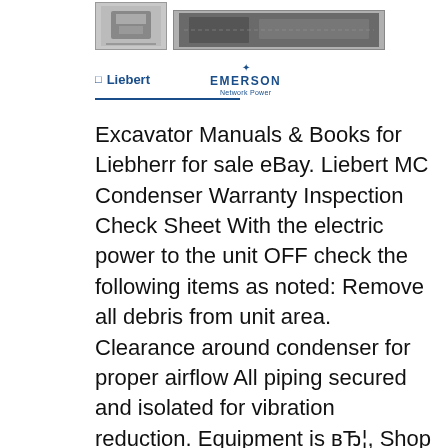[Figure (photo): Two product images: a small gray unit on the left and a larger dark condenser/equipment image on the right]
[Figure (logo): Liebert logo (blue text with icon) and Emerson logo (blue cross symbol with EMERSON text and tagline 'Network Power')]
Excavator Manuals & Books for Liebherr for sale eBay. Liebert MC Condenser Warranty Inspection Check Sheet With the electric power to the unit OFF check the following items as noted: Remove all debris from unit area. Clearance around condenser for proper airflow All piping secured and isolated for vibration reduction. Equipment is вЂ¦, Shop Condenser & Evaporator Coils for Liebert equipment. Find only 100% genuine OEM foodservice parts with same day shipping on all in-stock items